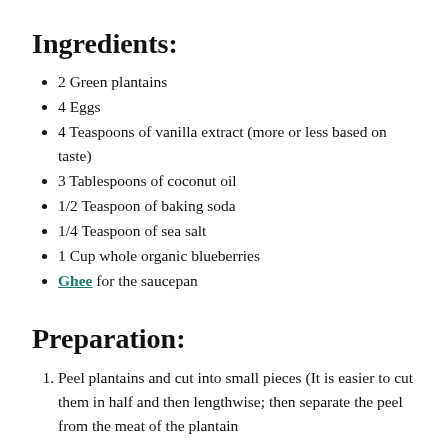Ingredients:
2 Green plantains
4 Eggs
4 Teaspoons of vanilla extract (more or less based on taste)
3 Tablespoons of coconut oil
1/2 Teaspoon of baking soda
1/4 Teaspoon of sea salt
1 Cup whole organic blueberries
Ghee for the saucepan
Preparation:
Peel plantains and cut into small pieces (It is easier to cut them in half and then lengthwise; then separate the peel from the meat of the plantain